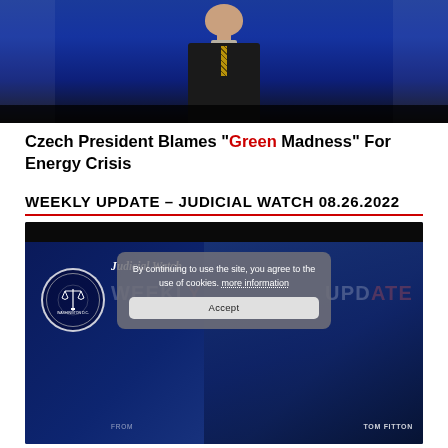[Figure (screenshot): Video thumbnail showing a male news anchor in a dark suit and patterned tie against a blue studio background with the US Capitol building visible.]
Czech President Blames “Green Madness” For Energy Crisis
WEEKLY UPDATE – JUDICIAL WATCH 08.26.2022
[Figure (screenshot): Video thumbnail for Judicial Watch Weekly Update with Tom Fitton, showing the Judicial Watch logo (scales of justice in a circle) against a blue US Capitol background, with a semi-transparent cookie consent overlay reading 'By continuing to use the site, you agree to the use of cookies. more information' and an Accept button.]